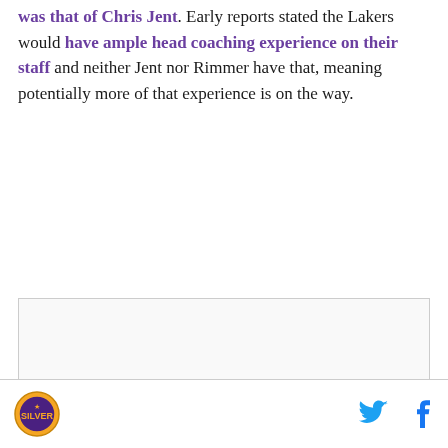was that of Chris Jent. Early reports stated the Lakers would have ample head coaching experience on their staff and neither Jent nor Rimmer have that, meaning potentially more of that experience is on the way.
[Figure (other): Advertisement placeholder box with 'AD' label in center]
Silver and Black Give Back logo | Twitter share icon | Facebook share icon